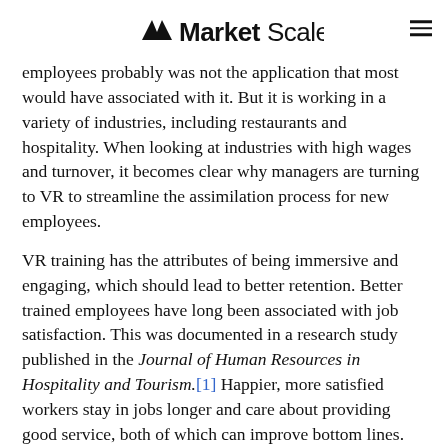MarketScale
employees probably was not the application that most would have associated with it. But it is working in a variety of industries, including restaurants and hospitality. When looking at industries with high wages and turnover, it becomes clear why managers are turning to VR to streamline the assimilation process for new employees.
VR training has the attributes of being immersive and engaging, which should lead to better retention. Better trained employees have long been associated with job satisfaction. This was documented in a research study published in the Journal of Human Resources in Hospitality and Tourism.[1] Happier, more satisfied workers stay in jobs longer and care about providing good service, both of which can improve bottom lines.